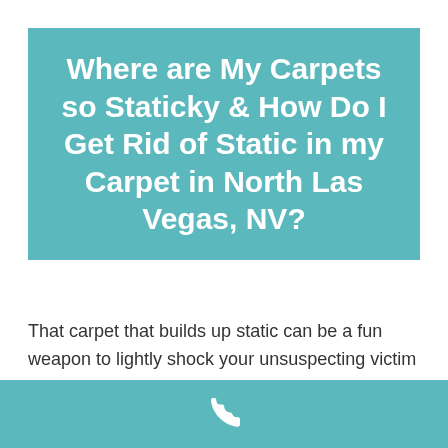Where are My Carpets so Staticky & How Do I Get Rid of Static in my Carpet in North Las Vegas, NV?
That carpet that builds up static can be a fun weapon to lightly shock your unsuspecting victim and it works in a pinch when you don't have the time for something more elaborate when you have a loved one that is oh so fun to prank. However, the static buildup can backfire and